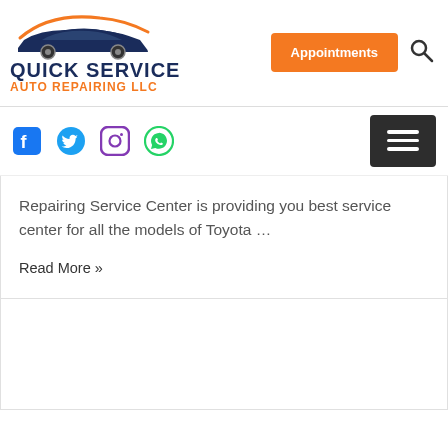[Figure (logo): Quick Service Auto Repairing LLC logo with an orange and dark blue car silhouette graphic above the company name text]
Appointments
[Figure (other): Search icon (magnifying glass)]
[Figure (other): Social media icons: Facebook, Twitter, Instagram, WhatsApp]
[Figure (other): Hamburger menu button (three horizontal lines on dark background)]
Repairing Service Center is providing you best service center for all the models of Toyota …
Read More »